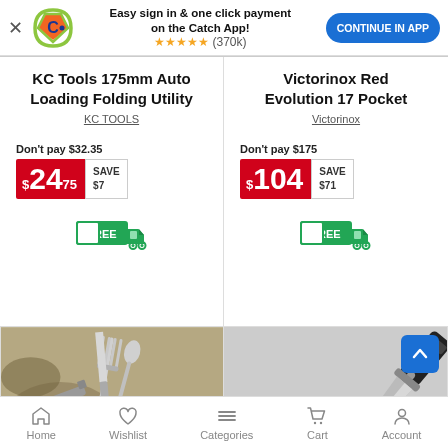[Figure (screenshot): Catch app banner with logo, text 'Easy sign in & one click payment on the Catch App!', star rating (370k), and CONTINUE IN APP button]
KC Tools 175mm Auto Loading Folding Utility
KC TOOLS
Don't pay $32.35
$24.75 SAVE $7
[Figure (illustration): Free shipping truck icon with FREE label]
Victorinox Red Evolution 17 Pocket
Victorinox
Don't pay $175
$104 SAVE $71
[Figure (illustration): Free shipping truck icon with FREE label]
[Figure (photo): Camping cutlery multi-tool with fork, knife, spoon on camouflage background]
[Figure (photo): Black folding utility knife]